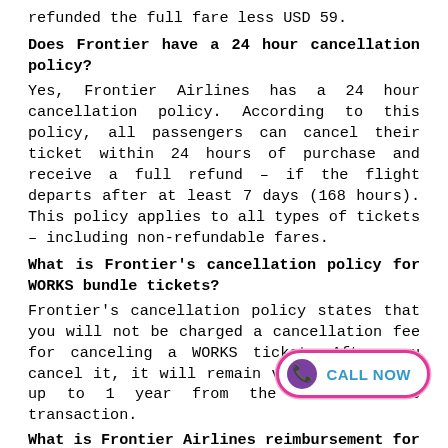refunded the full fare less USD 59.
Does Frontier have a 24 hour cancellation policy?
Yes, Frontier Airlines has a 24 hour cancellation policy. According to this policy, all passengers can cancel their ticket within 24 hours of purchase and receive a full refund – if the flight departs after at least 7 days (168 hours). This policy applies to all types of tickets – including non-refundable fares.
What is Frontier's cancellation policy for WORKS bundle tickets?
Frontier's cancellation policy states that you will not be charged a cancellation fee for canceling a WORKS ticket. After you cancel it, it will remain valid for travel up to 1 year from the date of the transaction.
What is Frontier Airlines reimbursement for